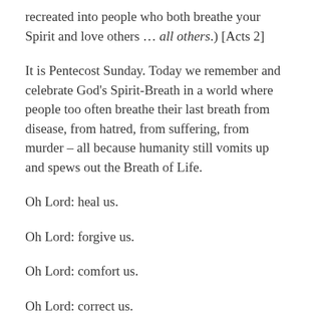recreated into people who both breathe your Spirit and love others … all others.) [Acts 2]
It is Pentecost Sunday. Today we remember and celebrate God's Spirit-Breath in a world where people too often breathe their last breath from disease, from hatred, from suffering, from murder – all because humanity still vomits up and spews out the Breath of Life.
Oh Lord: heal us.
Oh Lord: forgive us.
Oh Lord: comfort us.
Oh Lord: correct us.